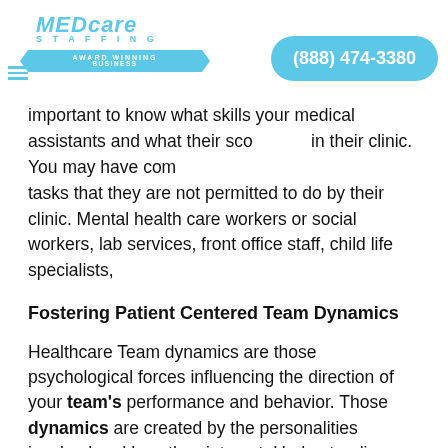[Figure (logo): MedCare Staffing logo with cyan text and ribbon banner, phone number bubble (888) 474-3380, and hamburger menu icon]
important to know what skills your medical assistants and what their scope in their clinic. You may have complete patient tasks that they are not permitted to do by their clinic. Mental health care workers or social workers, lab services, front office staff, child life specialists,
Fostering Patient Centered Team Dynamics
Healthcare Team dynamics are those psychological forces influencing the direction of your team's performance and behavior. Those dynamics are created by the personalities involved and how they interact. Understanding a team's dynamics can alert you to how successful it might be.
A healthcare team with positive group